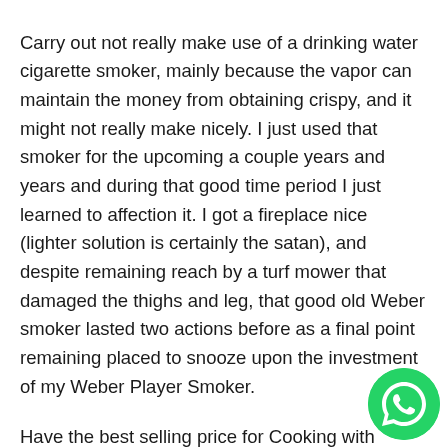Carry out not really make use of a drinking water cigarette smoker, mainly because the vapor can maintain the money from obtaining crispy, and it might not really make nicely. I just used that smoker for the upcoming a couple years and years and during that good time period I just learned to affection it. I got a fireplace nice (lighter solution is certainly the satan), and despite remaining reach by a turf mower that damaged the thighs and leg, that good old Weber smoker lasted two actions before as a final point remaining placed to snooze upon the investment of my Weber Player Smoker.
Have the best selling price for Cooking with charcoal briquettes Pet Falsified Dual Cope with MONSTER Hair brush with Big Scalp. The smoker is ideal fór the other meats I at. Got home safely Jamely, and I have away nowadays to catch upward about my blog and to write upward a lesson plan to teach within the family members
[Figure (logo): WhatsApp logo button — green circle with white phone handset icon]